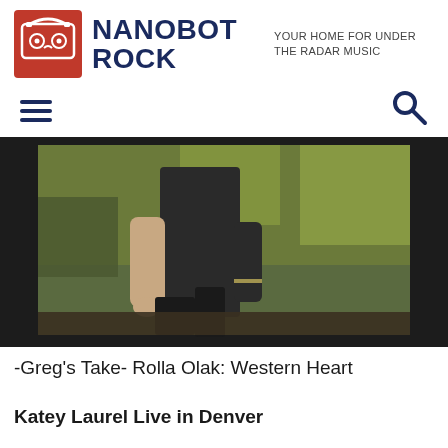[Figure (logo): Nanobot Rock logo — red cassette tape graphic in a square]
NANOBOT ROCK
YOUR HOME FOR UNDER THE RADAR MUSIC
[Figure (other): Hamburger menu icon (three horizontal lines)]
[Figure (other): Search (magnifying glass) icon]
[Figure (photo): Person sitting outdoors on a log wearing dark clothing, surrounded by green forest vegetation. The photo has a dark border/frame.]
-Greg's Take- Rolla Olak: Western Heart
Katey Laurel Live in Denver